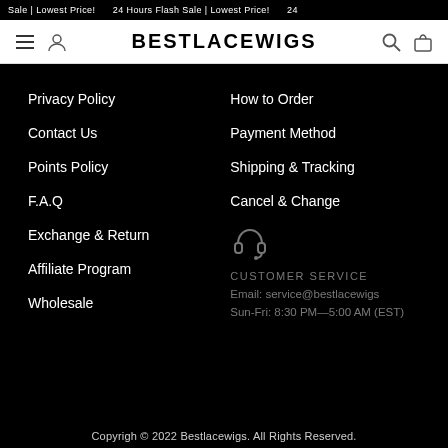Sale | Lowest Price! 24 Hours Flash Sale | Lowest Price! 24
BESTLACEWIGS
Privacy Policy
Contact Us
Points Policy
F.A.Q
Exchange & Return
Affiliate Program
Wholesale
How to Order
Payment Method
Shipping & Tracking
Cancel & Change
CUSTOMER SERVICE
Email: service@bestlacewigs
Sun-Fri: 8:30 PM—5:00 AM (EST)
Copyrigh © 2022 Bestlacewigs. All Rights Reserved.